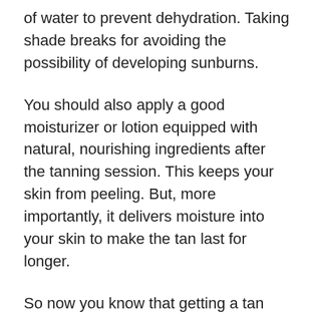of water to prevent dehydration. Taking shade breaks for avoiding the possibility of developing sunburns.
You should also apply a good moisturizer or lotion equipped with natural, nourishing ingredients after the tanning session. This keeps your skin from peeling. But, more importantly, it delivers moisture into your skin to make the tan last for longer.
So now you know that getting a tan fast is not just a pipe dream. You can achieve this goal simply by following the instructions I have outlined in the post.
But whatever you do, do not skip sunscreen and